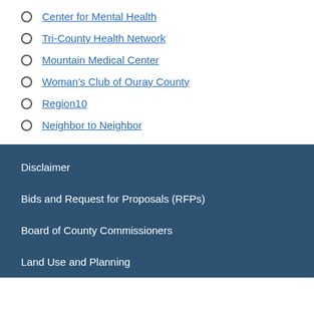Center for Mental Health
Tri-County Health Network
Mountain Medical Center
Woman's Club of Ouray County
Region10
Neighbor to Neighbor
Disclaimer
Bids and Request for Proposals (RFPs)
Board of County Commissioners
Land Use and Planning